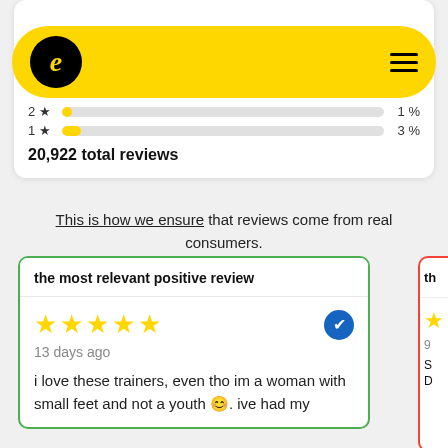[Figure (screenshot): Yellow rounded navigation bar with black circle logo showing italic 'e' and hamburger menu icon on right]
2★  1%
1★  3%
20,922 total reviews
This is how we ensure that reviews come from real consumers.
the most relevant positive review
★★★★★  13 days ago  i love these trainers, even tho im a woman with small feet and not a youth 😊. ive had my